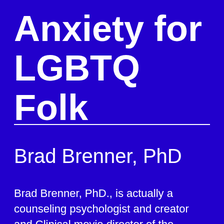Anxiety for LGBTQ Folk
Brad Brenner, PhD
Brad Brenner, PhD., is actually a counseling psychologist and creator and Clinical movie director of the...